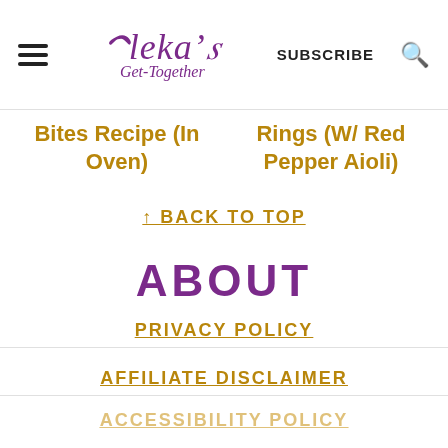Aleka's Get-Together — SUBSCRIBE
Bites Recipe (In Oven)
Rings (W/ Red Pepper Aioli)
↑ BACK TO TOP
ABOUT
PRIVACY POLICY
AFFILIATE DISCLAIMER
ACCESSIBILITY POLICY